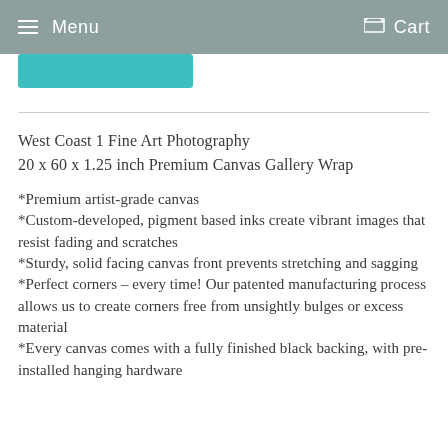Menu   Cart
West Coast 1 Fine Art Photography
20 x 60 x 1.25 inch Premium Canvas Gallery Wrap
*Premium artist-grade canvas
*Custom-developed, pigment based inks create vibrant images that resist fading and scratches
*Sturdy, solid facing canvas front prevents stretching and sagging
*Perfect corners – every time! Our patented manufacturing process allows us to create corners free from unsightly bulges or excess material
*Every canvas comes with a fully finished black backing, with pre-installed hanging hardware